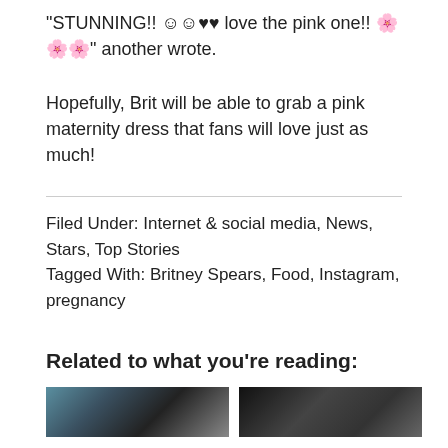“STUNNING!! 😊😊♥♥ love the pink one!! 🌸🌸🌸” another wrote.
Hopefully, Brit will be able to grab a pink maternity dress that fans will love just as much!
Filed Under: Internet & social media, News, Stars, Top Stories
Tagged With: Britney Spears, Food, Instagram, pregnancy
Related to what you're reading:
[Figure (photo): Two thumbnail images related to article: left shows a woman in dark setting with teal door, right shows a woman with long dark hair.]